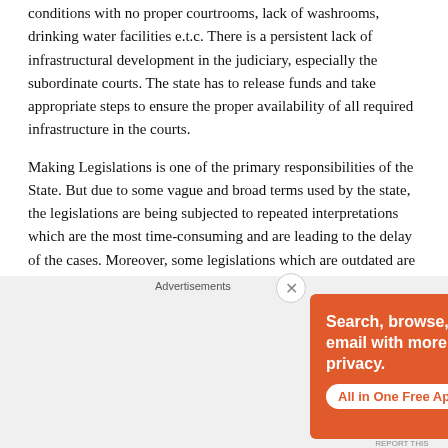conditions with no proper courtrooms, lack of washrooms, drinking water facilities e.t.c. There is a persistent lack of infrastructural development in the judiciary, especially the subordinate courts. The state has to release funds and take appropriate steps to ensure the proper availability of all required infrastructure in the courts.
Making Legislations is one of the primary responsibilities of the State. But due to some vague and broad terms used by the state, the legislations are being subjected to repeated interpretations which are the most time-consuming and are leading to the delay of the cases. Moreover, some legislations which are outdated are not yet being repealed burdening the judiciary.
Is the State responsible for
[Figure (other): DuckDuckGo advertisement banner: orange background with phone image showing DuckDuckGo app. Text: 'Search, browse, and email with more privacy. All in One Free App'. DuckDuckGo logo visible.]